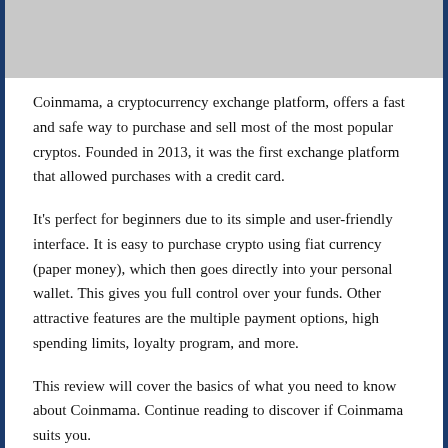[Figure (photo): Partial photo of a person in a white shirt, cropped at the top of the page]
Coinmama, a cryptocurrency exchange platform, offers a fast and safe way to purchase and sell most of the most popular cryptos. Founded in 2013, it was the first exchange platform that allowed purchases with a credit card.
It's perfect for beginners due to its simple and user-friendly interface. It is easy to purchase crypto using fiat currency (paper money), which then goes directly into your personal wallet. This gives you full control over your funds. Other attractive features are the multiple payment options, high spending limits, loyalty program, and more.
This review will cover the basics of what you need to know about Coinmama. Continue reading to discover if Coinmama suits you.